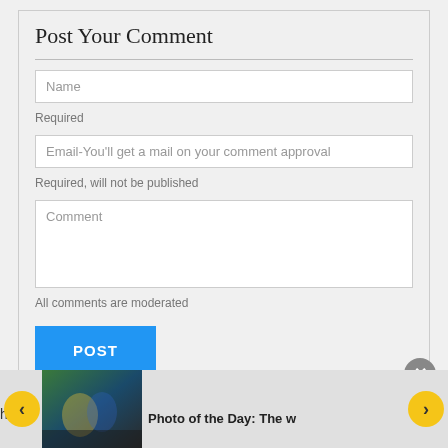Post Your Comment
Name
Required
Email-You'll get a mail on your comment approval
Required, will not be published
Comment
All comments are moderated
POST
Photo of the Day: The w